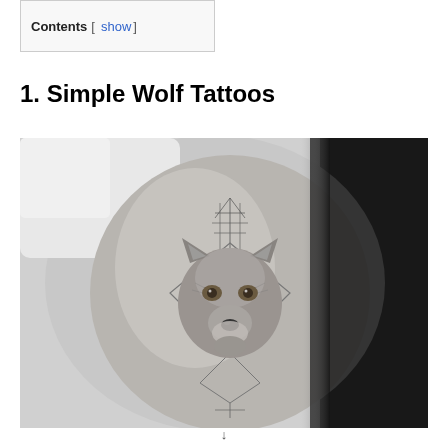Contents [ show ]
1. Simple Wolf Tattoos
[Figure (photo): Black and white photograph of a wolf tattoo on a person's arm. The tattoo depicts a realistic wolf head inside a geometric diamond/triangle shape with fine line details above it. The background on the right side is dark/black.]
↓